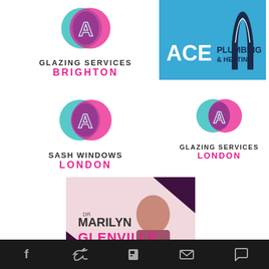[Figure (logo): Glazing Services Brighton logo with overlapping circle emblem and text]
[Figure (logo): Ace Plumbing and Heating logo on blue background with arch/column mark]
[Figure (logo): Sash Windows London logo with overlapping circle emblem]
[Figure (logo): Glazing Services London logo with overlapping circle emblem]
[Figure (photo): Dr Marilyn Glenville PhD (non-medical) banner with photo of woman]
Social media icons: Facebook, Twitter, Flipboard, Email, Comment